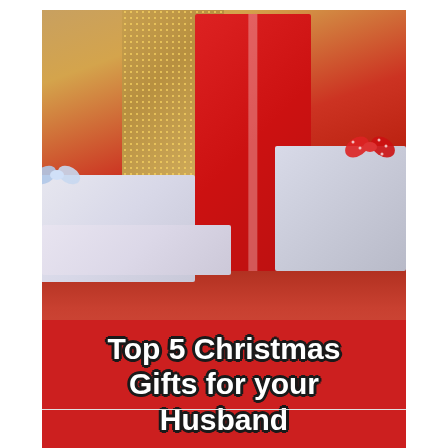[Figure (photo): Christmas gift boxes wrapped in various colors and patterns — white with blue bow, gold with dots, tall red with white ribbon, white with red polka-dot ribbon, and a flat white snowflake-patterned box — arranged on a red surface.]
Top 5 Christmas Gifts for your Husband